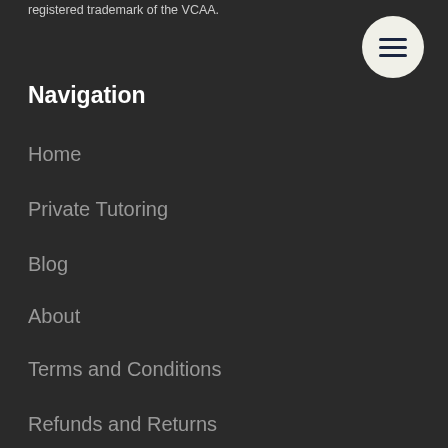registered trademark of the VCAA.
[Figure (other): Hamburger menu button - circular white button with three dark horizontal lines]
Navigation
Home
Private Tutoring
Blog
About
Terms and Conditions
Refunds and Returns
Let's Keep In Touch
03 9028 5603
Call us: Monday to Friday between 3pm - 6pm or leave us a message and we'll call you back!